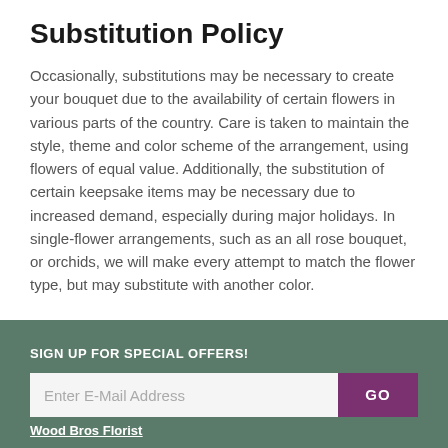Substitution Policy
Occasionally, substitutions may be necessary to create your bouquet due to the availability of certain flowers in various parts of the country. Care is taken to maintain the style, theme and color scheme of the arrangement, using flowers of equal value. Additionally, the substitution of certain keepsake items may be necessary due to increased demand, especially during major holidays. In single-flower arrangements, such as an all rose bouquet, or orchids, we will make every attempt to match the flower type, but may substitute with another color.
SIGN UP FOR SPECIAL OFFERS!
Enter E-Mail Address
GO
Wood Bros Florist